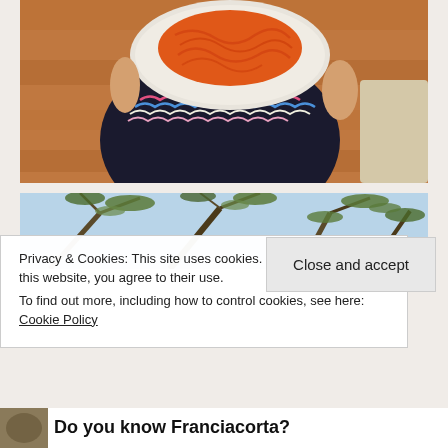[Figure (photo): Person wearing a dark striped dress holding a white plate of orange spaghetti pasta, wooden floor in background]
[Figure (photo): Upward view through olive tree branches against a light blue sky]
Privacy & Cookies: This site uses cookies. By continuing to use this website, you agree to their use.
To find out more, including how to control cookies, see here: Cookie Policy
Close and accept
Do you know Franciacorta?